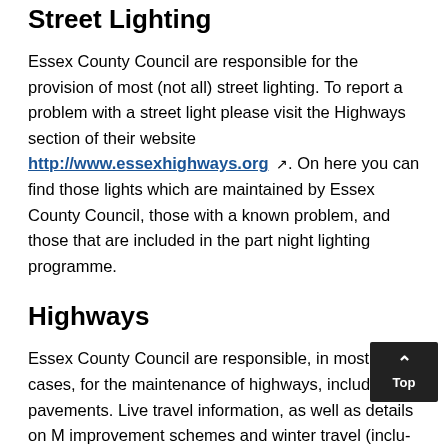Street Lighting
Essex County Council are responsible for the provision of most (not all) street lighting. To report a problem with a street light please visit the Highways section of their website http://www.essexhighways.org. On here you can find those lights which are maintained by Essex County Council, those with a known problem, and those that are included in the part night lighting programme.
Highways
Essex County Council are responsible, in most cases, for the maintenance of highways, including pavements. Live travel information, as well as details on M improvement schemes and winter travel (including their winter service) can be found by visiting the Highways website http://www.essexhighways.org/Transport-